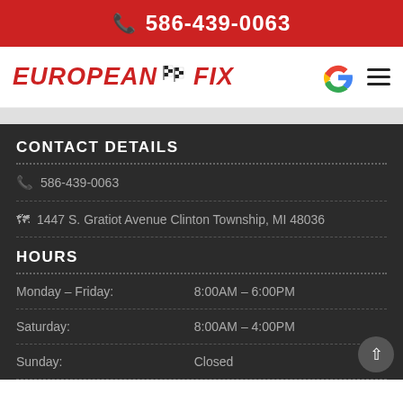📞 586-439-0063
[Figure (logo): European Fix logo with checkered racing flags, red italic bold text, Google icon and hamburger menu on the right]
CONTACT DETAILS
📞 586-439-0063
🗺 1447 S. Gratiot Avenue Clinton Township, MI 48036
HOURS
Monday – Friday:    8:00AM – 6:00PM
Saturday:    8:00AM – 4:00PM
Sunday:    Closed